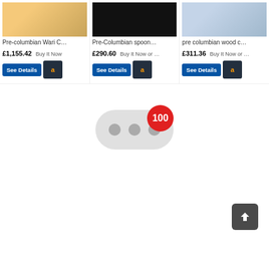[Figure (screenshot): Three product listing cards for Pre-Columbian artifacts with prices in GBP, See Details buttons, and Amazon buttons]
[Figure (infographic): Loading indicator: grey pill shape with three dots and a red badge showing '100']
[Figure (infographic): Scroll-to-top button: dark rounded square with white upward arrow, bottom right corner]